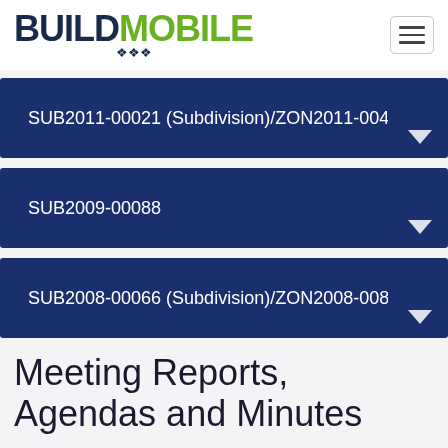BUILDMOBILE
SUB2011-00021 (Subdivision)/ZON2011-00451 (Pl
SUB2009-00088
SUB2008-00066 (Subdivision)/ZON2008-00889
Meeting Reports, Agendas and Minutes